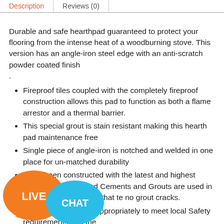Description | Reviews (0)
Durable and safe hearthpad guaranteed to protect your flooring from the intense heat of a woodburning stove. This version has an angle-iron steel edge with an anti-scratch powder coated finish .
Fireproof tiles coupled with the completely fireproof construction allows this pad to function as both a flame arrestor and a thermal barrier.
This special grout is stain resistant making this hearth pad maintenance free
Single piece of angle-iron is notched and welded in one place for un-matched durability
It has been constructed with the latest and highest quality Latex Modified Cements and Grouts are used in construction to ensure that there no grout cracks.
size your hearth pad appropriately to meet local Safety requirements and the